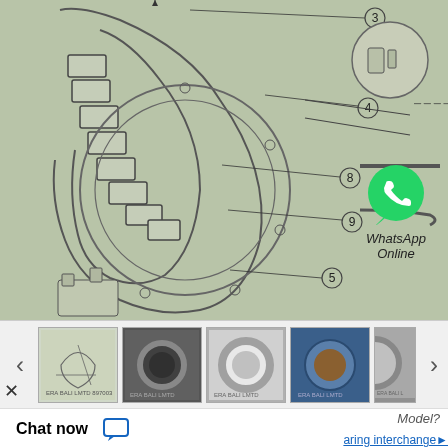[Figure (engineering-diagram): Technical exploded/cross-section diagram of an Airflex 32CB525 142271KM clutch/brake assembly on sage-green background, with callout numbers 3, 4, 5, 8, 9 pointing to various components including friction elements, mounting hardware, and a circular inset detail.]
[Figure (photo): Thumbnail row showing 5 product images: blueprint diagram, black metal ring, silver ring, blue industrial bearing, and partial silver component. Navigation arrows on left/right sides.]
ON AIRFLEX 32CB525 142271KM MODELS
Model?
Chat now
aring interchange